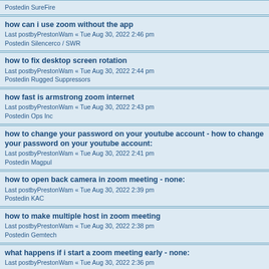Posted in SureFire
how can i use zoom without the app
Last postbyPrestonWam « Tue Aug 30, 2022 2:46 pm
Posted in Silencerco / SWR
how to fix desktop screen rotation
Last postbyPrestonWam « Tue Aug 30, 2022 2:44 pm
Posted in Rugged Suppressors
how fast is armstrong zoom internet
Last postbyPrestonWam « Tue Aug 30, 2022 2:43 pm
Posted in Ops Inc
how to change your password on your youtube account - how to change your password on your youtube account:
Last postbyPrestonWam « Tue Aug 30, 2022 2:41 pm
Posted in Magpul
how to open back camera in zoom meeting - none:
Last postbyPrestonWam « Tue Aug 30, 2022 2:39 pm
Posted in KAC
how to make multiple host in zoom meeting
Last postbyPrestonWam « Tue Aug 30, 2022 2:38 pm
Posted in Gemtech
what happens if i start a zoom meeting early - none:
Last postbyPrestonWam « Tue Aug 30, 2022 2:36 pm
Posted in DeGroat Tactical Armaments
what is latest version of zoom app - what is latest version of zoom app:
Last postbyPrestonWam « Tue Aug 30, 2022 2:34 pm